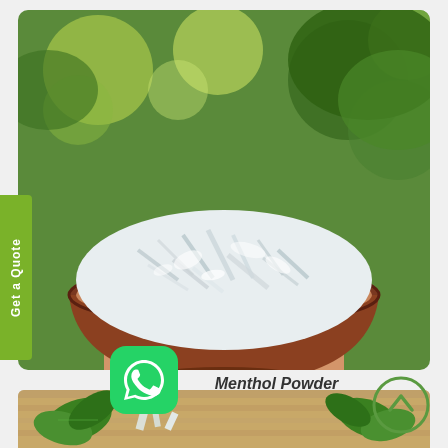[Figure (photo): A hand holding a brown clay bowl filled with white menthol crystals/powder, against a green blurred background]
Get a Quote
[Figure (logo): WhatsApp icon - green rounded square with white phone handset symbol]
Menthol Powder
[Figure (other): Up arrow circle button in green outline style]
[Figure (photo): Bottom strip showing green mint leaves on a wooden surface with menthol crystals]